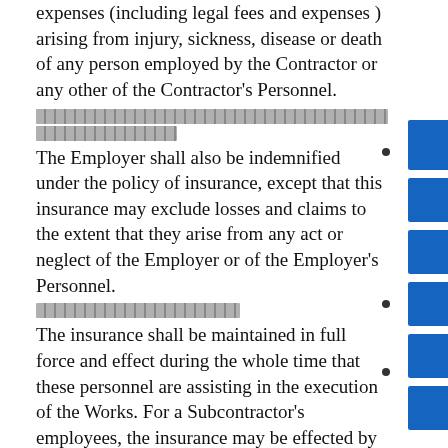expenses (including legal fees and expenses ) arising from injury, sickness, disease or death of any person employed by the Contractor or any other of the Contractor's Personnel.
[redacted text]
The Employer shall also be indemnified under the policy of insurance, except that this insurance may exclude losses and claims to the extent that they arise from any act or neglect of the Employer or of the Employer's Personnel.
[redacted text]
The insurance shall be maintained in full force and effect during the whole time that these personnel are assisting in the execution of the Works. For a Subcontractor's employees, the insurance may be effected by the Subcontractor, but the Contractor shall be responsible for compliance with this Clause.